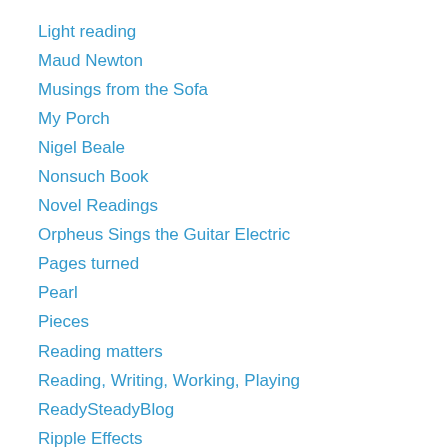Light reading
Maud Newton
Musings from the Sofa
My Porch
Nigel Beale
Nonsuch Book
Novel Readings
Orpheus Sings the Guitar Electric
Pages turned
Pearl
Pieces
Reading matters
Reading, Writing, Working, Playing
ReadySteadyBlog
Ripple Effects
Sasha & the Silverfish
Sassymonkey Reads
Shelf Love
Slaves of Golconda
Smithy...